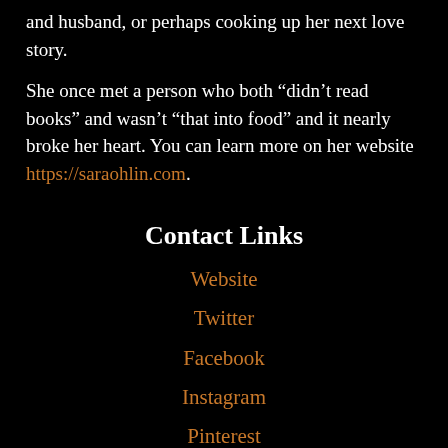and husband, or perhaps cooking up her next love story.
She once met a person who both “didn’t read books” and wasn’t “that into food” and it nearly broke her heart. You can learn more on her website https://saraohlin.com.
Contact Links
Website
Twitter
Facebook
Instagram
Pinterest
BookBub